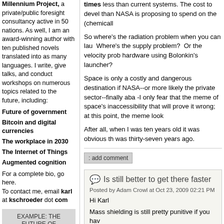Millennium Project, a private/public foresight consultancy active in 50 nations. As well, I am an award-winning author with ten published novels translated into as many languages. I write, give talks, and conduct workshops on numerous topics related to the future, including:
Future of government
Bitcoin and digital currencies
The workplace in 2030
The Internet of Things
Augmented cognition
For a complete bio, go here. To contact me, email karl at kschroeder dot com
EXAMPLE: THE FUTURE OF GOVERNANCE
I use Science Fiction to
times less than current systems. The cost to devel than NASA is proposing to spend on the (chemicall
So where's the radiation problem when you can lau Where's the supply problem? Or the velocity prob hardware using Bolonkin's launcher?
Space is only a costly and dangerous destination if NASA--or more likely the private sector--finally aba -I only fear that the meme of space's inaccessibility that will prove it wrong; at this point, the meme look
After all, when I was ten years old it was obvious th was thirty-seven years ago.
add comment
Is still better to get there faster
Posted by Adam Crowl at Oct 23, 2009 02:21 PM
Hi Karl
Mass shielding is still pretty punitive if you hav
Tony Zuppero's neofuel website explains just h obtained from the halo of NEOs...